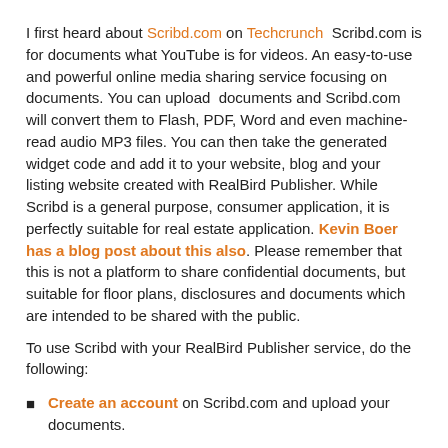I first heard about Scribd.com on Techcrunch  Scribd.com is for documents what YouTube is for videos. An easy-to-use and powerful online media sharing service focusing on documents. You can upload  documents and Scribd.com will convert them to Flash, PDF, Word and even machine-read audio MP3 files. You can then take the generated widget code and add it to your website, blog and your listing website created with RealBird Publisher. While Scribd is a general purpose, consumer application, it is perfectly suitable for real estate application. Kevin Boer has a blog post about this also. Please remember that this is not a platform to share confidential documents, but suitable for floor plans, disclosures and documents which are intended to be shared with the public.
To use Scribd with your RealBird Publisher service, do the following:
Create an account on Scribd.com and upload your documents.